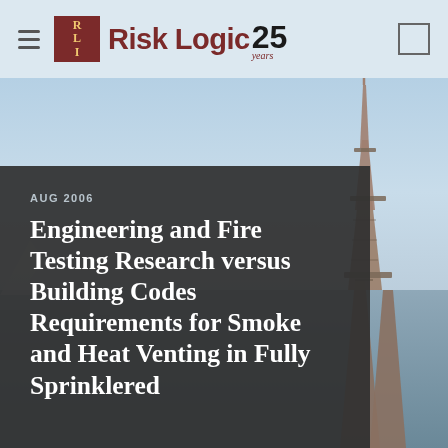Risk Logic 25 years
[Figure (photo): Aerial/cityscape background photo with Eiffel Tower visible on the right side, light blue sky]
AUG 2006
Engineering and Fire Testing Research versus Building Codes Requirements for Smoke and Heat Venting in Fully Sprinklered